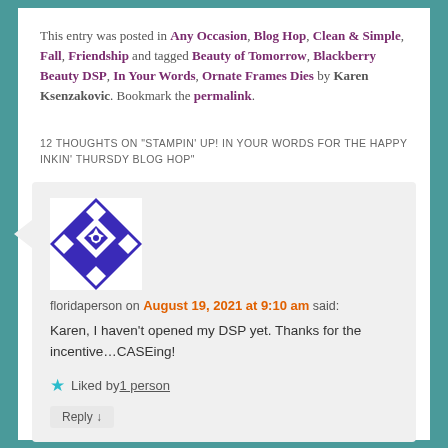This entry was posted in Any Occasion, Blog Hop, Clean & Simple, Fall, Friendship and tagged Beauty of Tomorrow, Blackberry Beauty DSP, In Your Words, Ornate Frames Dies by Karen Ksenzakovic. Bookmark the permalink.
12 THOUGHTS ON "STAMPIN' UP! IN YOUR WORDS FOR THE HAPPY INKIN' THURSDY BLOG HOP"
floridaperson on August 19, 2021 at 9:10 am said:
[Figure (illustration): Blue and white geometric quilt-pattern avatar icon with star/diamond shapes]
Karen, I haven't opened my DSP yet. Thanks for the incentive…CASEing!
★ Liked by 1 person
Reply ↓